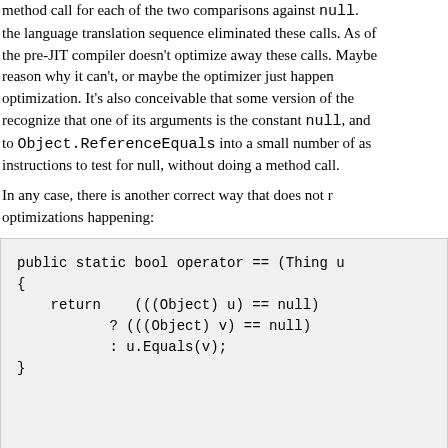method call for each of the two comparisons against null. the language translation sequence eliminated these calls. As of the pre-JIT compiler doesn't optimize away these calls. Maybe reason why it can't, or maybe the optimizer just happen optimization. It's also conceivable that some version of the recognize that one of its arguments is the constant null, and to Object.ReferenceEquals into a small number of as instructions to test for null, without doing a method call.
In any case, there is another correct way that does not r optimizations happening:
[Figure (screenshot): Code block showing C# operator == override using Object casting and null checks]
The above code is less logically transparent than the w Object.ReferenceEquals. But, this version translates t IL. Even if using Object.ReferenceEquals were to r code outputted by the JIT compiler, there are methods where s